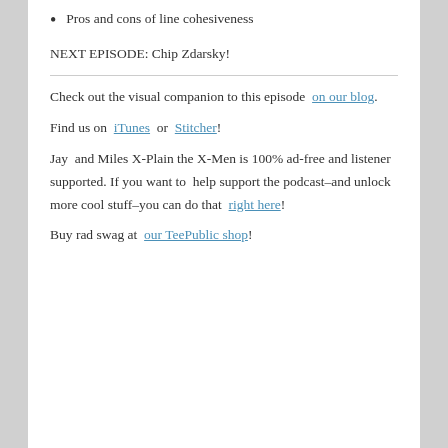Pros and cons of line cohesiveness
NEXT EPISODE: Chip Zdarsky!
Check out the visual companion to this episode on our blog.
Find us on iTunes or Stitcher!
Jay and Miles X-Plain the X-Men is 100% ad-free and listener supported. If you want to help support the podcast–and unlock more cool stuff–you can do that right here!
Buy rad swag at our TeePublic shop!